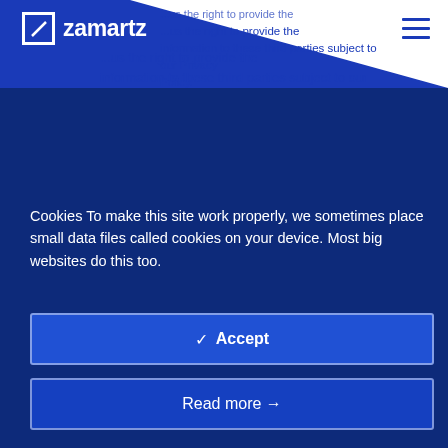zamartz
...us the right to provide the information to these third parties subject to our Privacy Policy.
Cookies To make this site work properly, we sometimes place small data files called cookies on your device. Most big websites do this too.
✓ Accept
Read more →
Change Settings ⚙